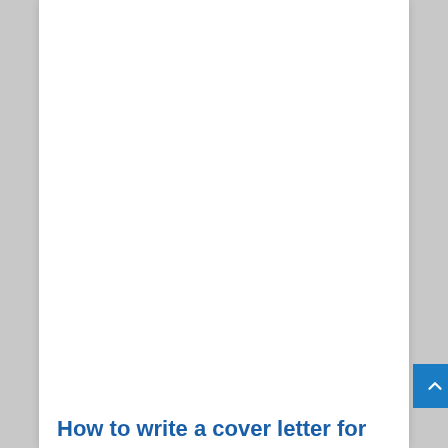How to write a cover letter for